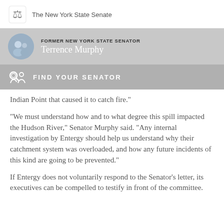The New York State Senate
FORMER NEW YORK STATE SENATOR
Terrence Murphy
FIND YOUR SENATOR
Indian Point that caused it to catch fire."
"We must understand how and to what degree this spill impacted the Hudson River," Senator Murphy said. "Any internal investigation by Entergy should help us understand why their catchment system was overloaded, and how any future incidents of this kind are going to be prevented."
If Entergy does not voluntarily respond to the Senator's letter, its executives can be compelled to testify in front of the committee.